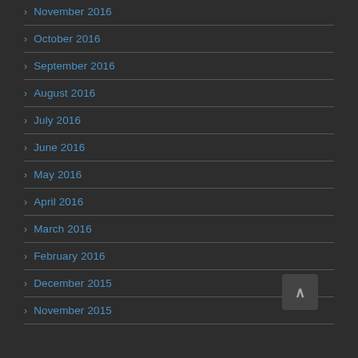> November 2016
> October 2016
> September 2016
> August 2016
> July 2016
> June 2016
> May 2016
> April 2016
> March 2016
> February 2016
> December 2015
> November 2015